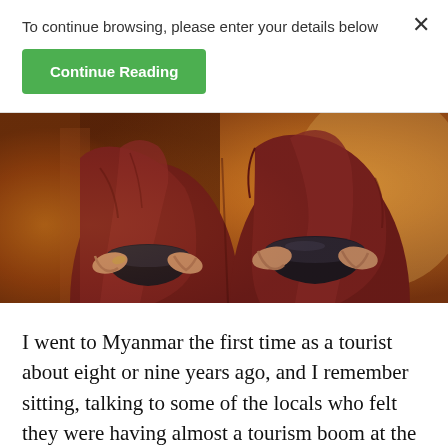To continue browsing, please enter your details below
Continue Reading
[Figure (photo): Two Buddhist monks in dark red robes holding black alms bowls, photographed from the torso down, with warm orange bokeh background suggesting stone temple ruins]
I went to Myanmar the first time as a tourist about eight or nine years ago, and I remember sitting, talking to some of the locals who felt they were having almost a tourism boom at the time. They'd had 150,000 visitors that year. And...